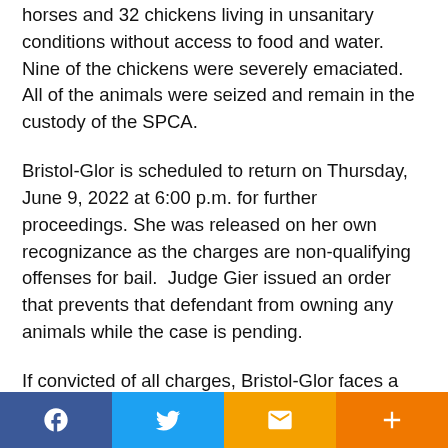horses and 32 chickens living in unsanitary conditions without access to food and water. Nine of the chickens were severely emaciated. All of the animals were seized and remain in the custody of the SPCA.
Bristol-Glor is scheduled to return on Thursday, June 9, 2022 at 6:00 p.m. for further proceedings. She was released on her own recognizance as the charges are non-qualifying offenses for bail.  Judge Gier issued an order that prevents that defendant from owning any animals while the case is pending.
If convicted of all charges, Bristol-Glor faces a maximum sentence of one year in jail.
Judge Gier issued an arrest warrant for the defendant's husband who has also been charged in this case.